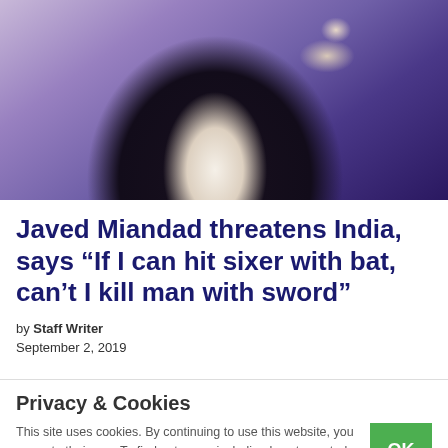[Figure (photo): A man in a dark suit jacket with a white shirt, appearing to gesture or point, against a purple/blurred background]
Javed Miandad threatens India, says “If I can hit sixer with bat, can’t I kill man with sword”
by Staff Writer
September 2, 2019
Privacy & Cookies
This site uses cookies. By continuing to use this website, you agree to their use. To find out more, including how to control cookies, see here: Cookie Policy